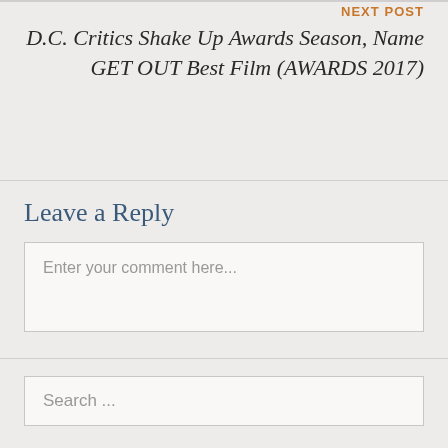NEXT POST
D.C. Critics Shake Up Awards Season, Name GET OUT Best Film (AWARDS 2017)
Leave a Reply
Enter your comment here...
Search ...